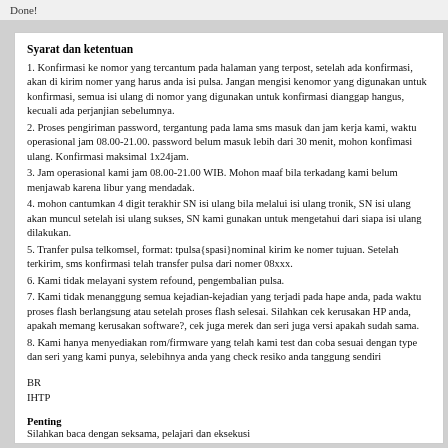Done!
Syarat dan ketentuan
1. Konfirmasi ke nomor yang tercantum pada halaman yang terpost, setelah ada konfirmasi, akan di kirim nomer yang harus anda isi pulsa. Jangan mengisi kenomor yang digunakan untuk konfirmasi, semua isi ulang di nomor yang digunakan untuk konfirmasi dianggap hangus, kecuali ada perjanjian sebelumnya.
2. Proses pengiriman password, tergantung pada lama sms masuk dan jam kerja kami, waktu operasional jam 08.00-21.00. password belum masuk lebih dari 30 menit, mohon konfimasi ulang. Konfirmasi maksimal 1x24jam.
3. Jam operasional kami jam 08.00-21.00 WIB. Mohon maaf bila terkadang kami belum menjawab karena libur yang mendadak.
4. mohon cantumkan 4 digit terakhir SN isi ulang bila melalui isi ulang tronik, SN isi ulang akan muncul setelah isi ulang sukses, SN kami gunakan untuk mengetahui dari siapa isi ulang dilakukan.
5. Tranfer pulsa telkomsel, format: tpulsa{spasi}nominal kirim ke nomer tujuan. Setelah terkirim, sms konfirmasi telah transfer pulsa dari nomer 08xxx.
6. Kami tidak melayani system refound, pengembalian pulsa.
7. Kami tidak menanggung semua kejadian-kejadian yang terjadi pada hape anda, pada waktu proses flash berlangsung atau setelah proses flash selesai. Silahkan cek kerusakan HP anda, apakah memang kerusakan software?, cek juga merek dan seri juga versi apakah sudah sama.
8. Kami hanya menyediakan rom/firmware yang telah kami test dan coba sesuai dengan type dan seri yang kami punya, selebihnya anda yang check resiko anda tanggung sendiri
BR
IHTP
Penting
Silahkan baca dengan seksama, pelajari dan eksekusi
Flashing mempunyai resiko, kalau belum mengenal, mengerti dan memahami tolong jangan melakukan flashing sendiri, Resiko Tanggung Sendiri. Lebih baik kasihkan kepada orang yang